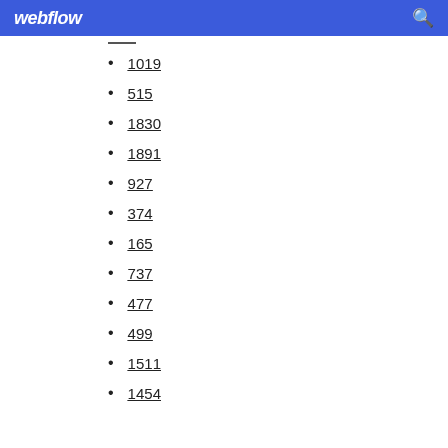webflow
1019
515
1830
1891
927
374
165
737
477
499
1511
1454